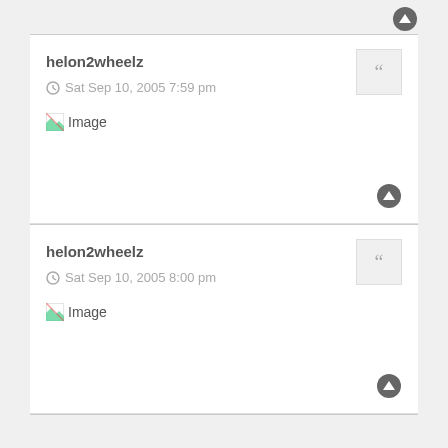[Figure (screenshot): Up arrow icon at top right]
helon2wheelz
Sat Sep 10, 2005 7:59 pm
[Figure (illustration): Broken image placeholder with label 'Image']
[Figure (screenshot): Up arrow icon bottom right of first post]
helon2wheelz
Sat Sep 10, 2005 8:00 pm
[Figure (illustration): Broken image placeholder with label 'Image']